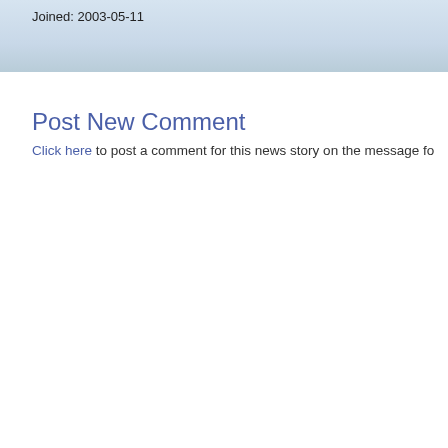Joined: 2003-05-11
Post New Comment
Click here to post a comment for this news story on the message fo